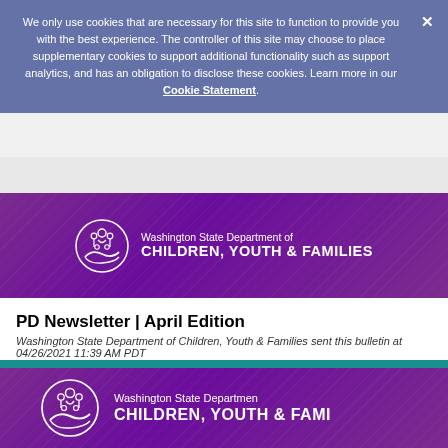We only use cookies that are necessary for this site to function to provide you with the best experience. The controller of this site may choose to place supplementary cookies to support additional functionality such as support analytics, and has an obligation to disclose these cookies. Learn more in our Cookie Statement.
[Figure (logo): Washington State Department of Children, Youth & Families logo — white circular icon with family figures on purple background]
PD Newsletter | April Edition
Washington State Department of Children, Youth & Families sent this bulletin at 04/26/2021 11:39 AM PDT
[Figure (logo): Washington State Department of Children, Youth & Families logo — large white circular icon on purple background, partially cropped]